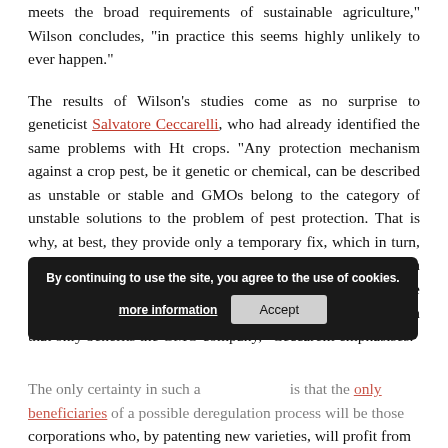meets the broad requirements of sustainable agriculture," Wilson concludes, "in practice this seems highly unlikely to ever happen."
The results of Wilson's studies come as no surprise to geneticist Salvatore Ceccarelli, who had already identified the same problems with Ht crops. "Any protection mechanism against a crop pest, be it genetic or chemical, can be described as unstable or stable and GMOs belong to the category of unstable solutions to the problem of pest protection. That is why, at best, they provide only a temporary fix, which in turn, creates a new problem-a resistant breed of the pest- which requires a different solution (a new GMO). Therefore, the introduction of GMOs in agriculture starts a chain reaction that only benefits the GMO company," Ceccarelli emphasises.
The only certainty in such a ... is that the only beneficiaries of a possible deregulation process will be those corporations who, by patenting new varieties, will profit from